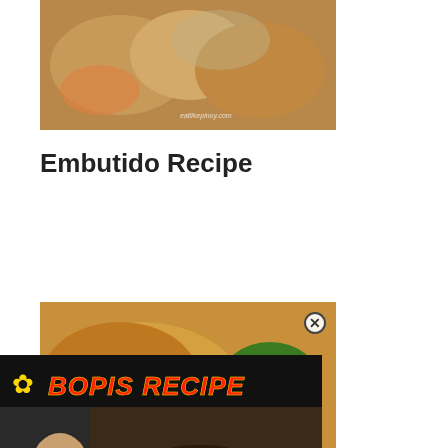[Figure (photo): Food photo of embutido rolls - sliced meat rolls with fillings on a white plate]
Embutido Recipe
[Figure (photo): Fried chicken photo - golden fried chicken with lettuce and sides]
[Figure (screenshot): Bopis Recipe video overlay with sunflower icon, red italic title text on dark background, chef character, and play button over bopis dish in a pan]
Max’s style Fried Chicken
[Figure (screenshot): Tally advertisement banner - Fast credit card payoff with Download Now button, close/help icons]